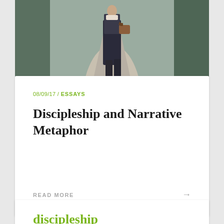[Figure (photo): Person walking away on a path, carrying a brown leather bag, wearing dark pants. Photo taken from behind.]
08/09/17 / ESSAYS
Discipleship and Narrative Metaphor
READ MORE →
discipleship